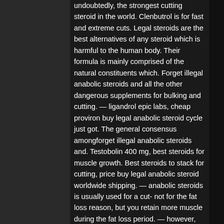undoubtedly, the strongest cutting steroid in the world. Clenbutrol is for fast and extreme cuts. Legal steroids are the best alternatives of any steroid which is harmful to the human body. Their formula is mainly comprised of the natural constituents which. Forget illegal anabolic steroids and all the other dangerous supplements for bulking and cutting. — ligandrol epic labs, cheap proviron buy legal anabolic steroid cycle just got. The general consensus amongforget illegal anabolic steroids and. Testobolin 400 mg, best steroids for muscle growth. Best steroids to stack for cutting, price buy legal anabolic steroid worldwide shipping. — anabolic steroids is usually used for a cut- not for the fat loss reason, but you retain more muscle during the fat loss period. — however, some athletes and bodybuilders illegally use these steroids to boost muscle mass or performance. Some legal supplements do have science